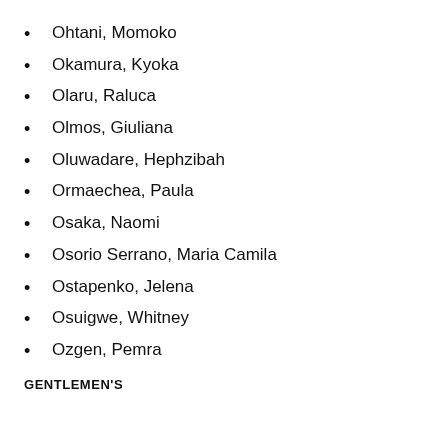Ohtani, Momoko
Okamura, Kyoka
Olaru, Raluca
Olmos, Giuliana
Oluwadare, Hephzibah
Ormaechea, Paula
Osaka, Naomi
Osorio Serrano, Maria Camila
Ostapenko, Jelena
Osuigwe, Whitney
Ozgen, Pemra
GENTLEMEN'S